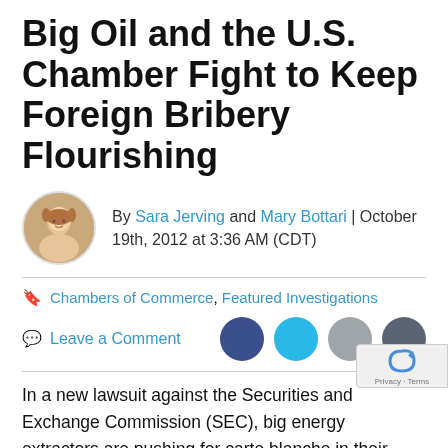Big Oil and the U.S. Chamber Fight to Keep Foreign Bribery Flourishing
By Sara Jerving and Mary Bottari | October 19th, 2012 at 3:36 AM (CDT)
Chambers of Commerce, Featured Investigations
Leave a Comment
In a new lawsuit against the Securities and Exchange Commission (SEC), big energy extractors are pushing for carte blanche in their interactions with foreign governments, making it harder to track whether they are padding the coffers of dictators, warlords, or crony capitalists. The United States Chamber of Commerce.